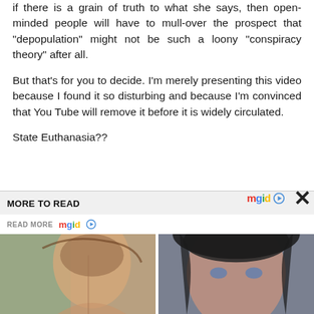if there is a grain of truth to what she says, then open-minded people will have to mull-over the prospect that “depopulation” might not be such a loony “conspiracy theory” after all.
But that’s for you to decide. I’m merely presenting this video because I found it so disturbing and because I’m convinced that You Tube will remove it before it is widely circulated.
State Euthanasia??
MORE TO READ
[Figure (screenshot): mgid logo with play button icon on right side, and close X button]
[Figure (screenshot): READ MORE mgid logo with play button icon]
[Figure (photo): Two thumbnail images side by side: left shows a woman near a beach, right shows a dark-haired woman with blue eyes]